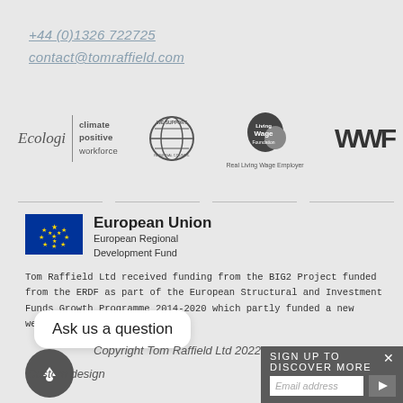+44 (0)1326 722725
contact@tomraffield.com
[Figure (logo): Row of partner logos: Ecologi climate positive workforce, We Support Regional Council globe badge, Living Wage Employer badge, WWF logo]
[Figure (logo): European Union European Regional Development Fund logo with EU flag]
Tom Raffield Ltd received funding from the BIG2 Project funded from the ERDF as part of the European Structural and Investment Funds Growth Programme 2014-2020 which partly funded a new website launched in 2018.
Ask us a question
Copyright Tom Raffield Ltd 2022
Custom design
SIGN UP TO DISCOVER MORE
Email address